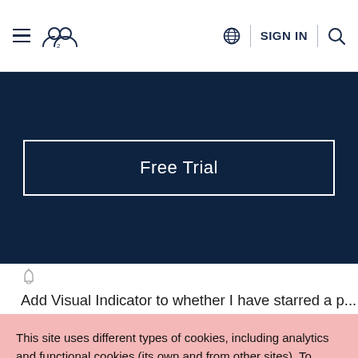☰ [users icon] | 🌐 SIGN IN 🔍
[Figure (screenshot): Dark navy banner with 'Free Trial' button outlined in white]
Add Visual Indicator to whether I have starred a p... ‐ (09-04-2015 10:39 AM)
This site uses different types of cookies, including analytics and functional cookies (its own and from other sites). To change your cookie settings or find out more, click here. If you continue browsing our website, you accept these cookies.
I AGREE | LEARN MORE | Reject